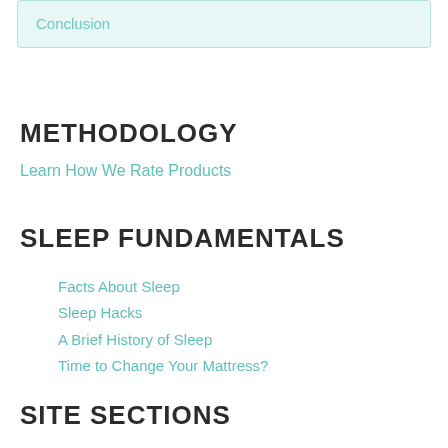Conclusion
METHODOLOGY
Learn How We Rate Products
SLEEP FUNDAMENTALS
Facts About Sleep
Sleep Hacks
A Brief History of Sleep
Time to Change Your Mattress?
SITE SECTIONS